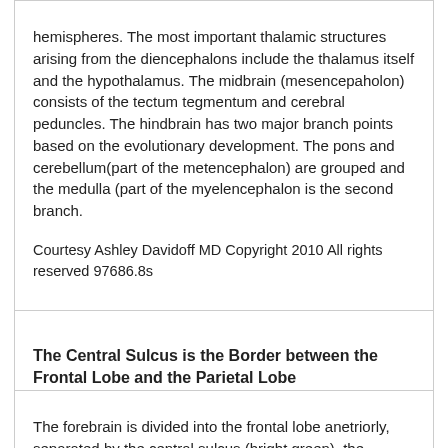hemispheres. The most important thalamic structures arising from the diencephalons include the thalamus itself and the hypothalamus. The midbrain (mesencepaholon) consists of the tectum tegmentum and cerebral peduncles. The hindbrain has two major branch points based on the evolutionary development. The pons and cerebellum(part of the metencephalon) are grouped and the medulla (part of the myelencephalon is the second branch.
Courtesy Ashley Davidoff MD Copyright 2010 All rights reserved 97686.8s
The Central Sulcus is the Border between the Frontal Lobe and the Parietal Lobe
The forebrain is divided into the frontal lobe anetriorly, separated by the central sulcus (bright green), the parietal lobe separated from the occipital lobe by the parieto-occipital fissure (pink), and the temporal lobe separated from the frontal and occip[ital lobe by the Sylvian fissure (lateral sulcus) (red). The distinction bet...